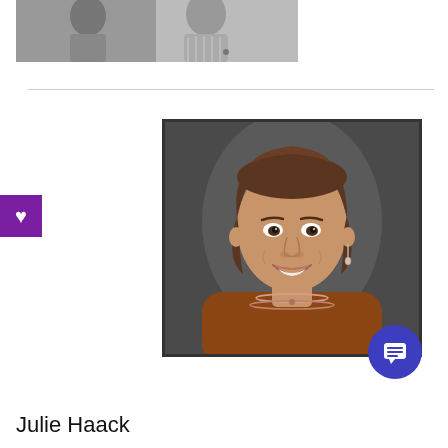[Figure (photo): Black and white photo of two people at top of page, partially cropped]
[Figure (photo): Color portrait photo of Julie Haack, a woman with short brown hair wearing a rust/brown top and layered necklaces, smiling, framed with a dark border]
Julie Haack